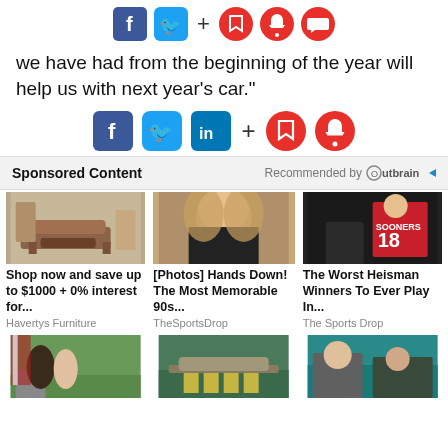[Figure (screenshot): Top social sharing icons: Facebook (blue square), Twitter (blue rounded square), plus sign, bookmark icon (red circle), bell icon (red circle), speech bubble icon (red circle)]
we have had from the beginning of the year will help us with next year's car."
[Figure (screenshot): Middle social sharing icons: Facebook (blue), Twitter (blue), LinkedIn (blue), plus sign, bookmark icon (red circle), bell icon (red circle)]
Sponsored Content
Recommended by Outbrain
[Figure (photo): Photo of a living room with a brown leather sofa and coffee table]
[Figure (photo): Close-up photo of a blonde woman from the 90s]
[Figure (photo): Photo of a football player in a red Sooners jersey number 18 with a Heisman trophy]
Shop now and save up to $1000 + 0% interest for...
Havertys Furniture
[Photos] Hands Down! The Most Memorable 90s...
TheSportsDrop
The Worst Heisman Winners To Ever Play In...
The Sports Drop
[Figure (photo): Photo of a couple standing outdoors with an American flag]
[Figure (photo): Photo of a lakeside dock with yellow kayaks]
[Figure (photo): Photo of two people sitting in stadium seats wearing sunglasses]